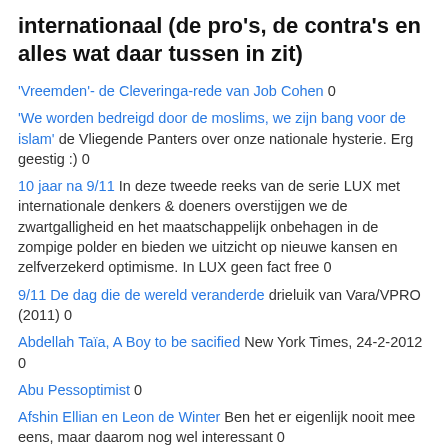internationaal (de pro's, de contra's en alles wat daar tussen in zit)
'Vreemden'- de Cleveringa-rede van Job Cohen 0
'We worden bedreigd door de moslims, we zijn bang voor de islam' de Vliegende Panters over onze nationale hysterie. Erg geestig :) 0
10 jaar na 9/11 In deze tweede reeks van de serie LUX met internationale denkers & doeners overstijgen we de zwartgalligheid en het maatschappelijk onbehagen in de zompige polder en bieden we uitzicht op nieuwe kansen en zelfverzekerd optimisme. In LUX geen fact free 0
9/11 De dag die de wereld veranderde drieluik van Vara/VPRO (2011) 0
Abdellah Taïa, A Boy to be sacified New York Times, 24-2-2012 0
Abu Pessoptimist 0
Afshin Ellian en Leon de Winter Ben het er eigenlijk nooit mee eens, maar daarom nog wel interessant 0
Afshin Ellian in NRC geldt weer hetzelfde voor als wat ik opmerkte bij zijn duo-column met Leon de Winter. Eigenlijk nooit mee eens, maar ik volg het wel 0
Al Jazeera blogs 0